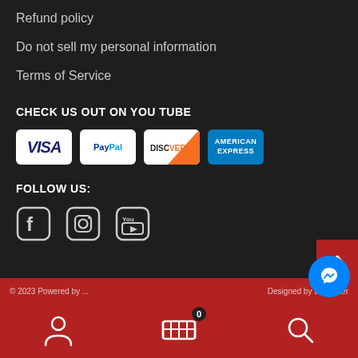Refund policy
Do not sell my personal information
Terms of Service
CHECK US OUT ON YOU TUBE
[Figure (logo): Payment method logos: VISA, PayPal, Discover, American Express]
FOLLOW US:
[Figure (logo): Social media icons: Facebook, Instagram, YouTube]
© 2023 Powered by ... Designed by DNAtelier